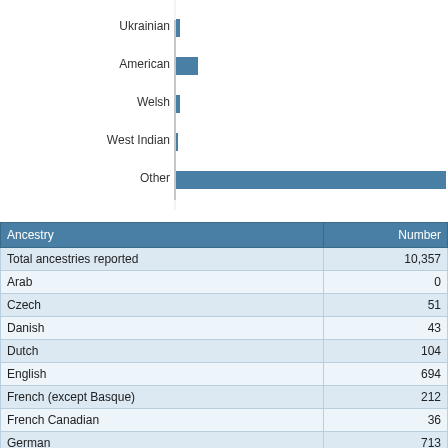[Figure (bar-chart): Ancestry (partial, top portion visible)]
| Ancestry | Number |
| --- | --- |
| Total ancestries reported | 10,357 |
| Arab | 0 |
| Czech | 51 |
| Danish | 43 |
| Dutch | 104 |
| English | 694 |
| French (except Basque) | 212 |
| French Canadian | 36 |
| German | 713 |
| Greek | 31 |
| Hungarian | 44 |
| Irish | 572 |
| Italian | 153 |
| Lithuanian | 34 |
| Norwegian | 268 |
| Polish | 47 |
| Portuguese | 526 |
| Russian | 47 |
| Scotch-Irish | 89 |